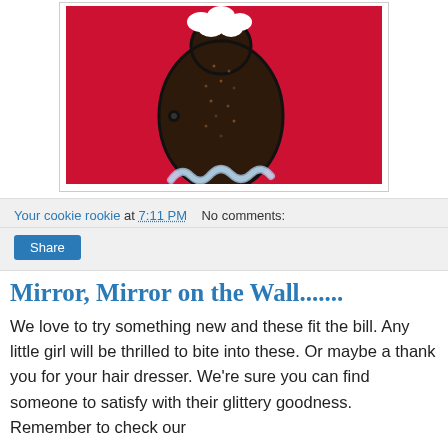[Figure (photo): Back of a hairbrush-shaped cookie decorated with brown sugar/glitter texture on a red background, displayed on a small clear plastic stand]
Your cookie rookie at 7:11 PM   No comments:
Share
Mirror, Mirror on the Wall.......
We love to try something new and these fit the bill. Any little girl will be thrilled to bite into these. Or maybe a thank you for your hair dresser. We're sure you can find someone to satisfy with their glittery goodness. Remember to check our